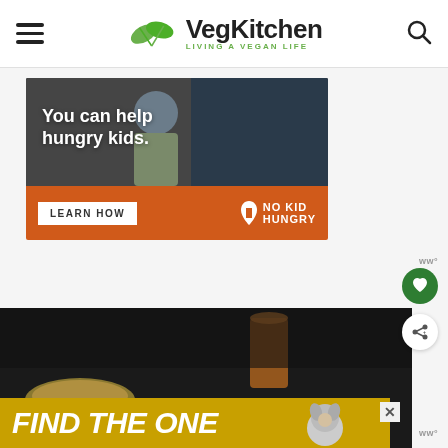VegKitchen — LIVING A VEGAN LIFE
[Figure (photo): Advertisement banner: child eating a berry with text 'You can help hungry kids.' and orange footer with 'LEARN HOW' button and 'NO KID HUNGRY' logo]
[Figure (photo): Dark food photography showing a bowl of soup and a glass drink in the background]
[Figure (photo): Bottom advertisement strip with yellow/gold background and italic white text 'FIND THE ONE' with a dog image and close X button]